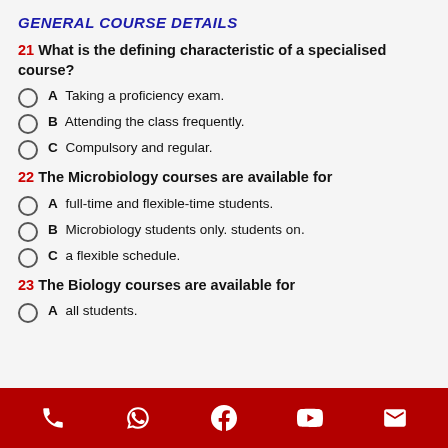GENERAL COURSE DETAILS
21 What is the defining characteristic of a specialised course?
A Taking a proficiency exam.
B Attending the class frequently.
C Compulsory and regular.
22 The Microbiology courses are available for
A full-time and flexible-time students.
B Microbiology students only. students on.
C a flexible schedule.
23 The Biology courses are available for
A all students.